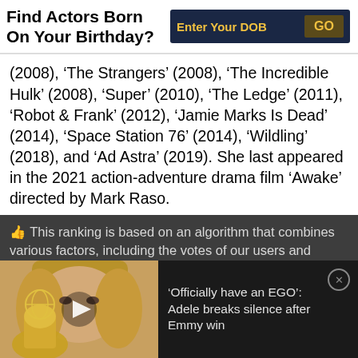Find Actors Born On Your Birthday?
(2008), ‘The Strangers’ (2008), ‘The Incredible Hulk’ (2008), ‘Super’ (2010), ‘The Ledge’ (2011), ‘Robot & Frank’ (2012), ‘Jamie Marks Is Dead’ (2014), ‘Space Station 76’ (2014), ‘Wildling’ (2018), and ‘Ad Astra’ (2019). She last appeared in the 2021 action-adventure drama film ‘Awake’ directed by Mark Raso.
👍 This ranking is based on an algorithm that combines various factors, including the votes of our users and search trends on the internet.
[Figure (photo): Photo of Adele holding an Emmy trophy, used as a promotional video thumbnail with a play button overlay]
‘Officially have an EGO’: Adele breaks silence after Emmy win